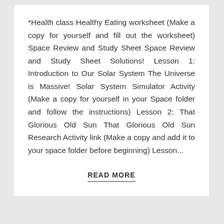*Health class Healthy Eating worksheet (Make a copy for yourself and fill out the worksheet) Space Review and Study Sheet Space Review and Study Sheet Solutions! Lesson 1: Introduction to Our Solar System The Universe is Massive! Solar System Simulator Activity (Make a copy for yourself in your Space folder and follow the instructions) Lesson 2: That Glorious Old Sun That Glorious Old Sun Research Activity link (Make a copy and add it to your space folder before beginning) Lesson...
READ MORE